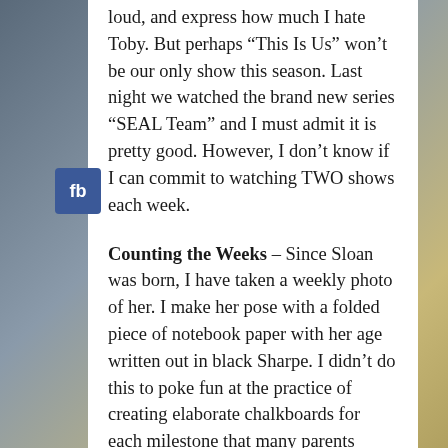loud, and express how much I hate Toby. But perhaps “This Is Us” won’t be our only show this season. Last night we watched the brand new series “SEAL Team” and I must admit it is pretty good. However, I don’t know if I can commit to watching TWO shows each week.
[Figure (logo): Facebook share button with 'fb' text on blue background]
Counting the Weeks – Since Sloan was born, I have taken a weekly photo of her. I make her pose with a folded piece of notebook paper with her age written out in black Sharpe. I didn’t do this to poke fun at the practice of creating elaborate chalkboards for each milestone that many parents employ. Rather, I wanted to simply document each week of her life in a non-tedious way. My intention was